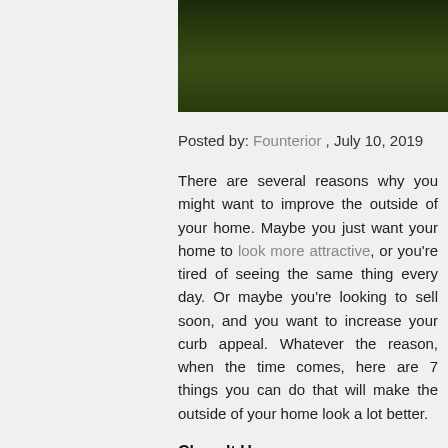[Figure (photo): Top portion of a photo showing green grass/lawn, dark gradient of grass blades]
Posted by: Founterior , July 10, 2019
There are several reasons why you might want to improve the outside of your home. Maybe you just want your home to look more attractive, or you're tired of seeing the same thing every day. Or maybe you're looking to sell soon, and you want to increase your curb appeal. Whatever the reason, when the time comes, here are 7 things you can do that will make the outside of your home look a lot better.
Clean It Up
First, before you tackle any major projects, you should clean up the outside of your home. This means cleaning up any debris that may have blown onto your lawn, cutting down dead branches, pressure washing the home’s siding, along with your deck and sidewalk, and cleaning out the gutters. Also make sure you’ve kept up with other basic yard